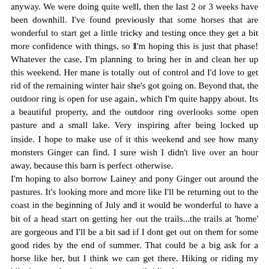anyway. We were doing quite well, then the last 2 or 3 weeks have been downhill. I've found previously that some horses that are wonderful to start get a little tricky and testing once they get a bit more confidence with things, so I'm hoping this is just that phase! Whatever the case, I'm planning to bring her in and clean her up this weekend. Her mane is totally out of control and I'd love to get rid of the remaining winter hair she's got going on. Beyond that, the outdoor ring is open for use again, which I'm quite happy about. Its a beautiful property, and the outdoor ring overlooks some open pasture and a small lake. Very inspiring after being locked up inside. I hope to make use of it this weekend and see how many monsters Ginger can find. I sure wish I didn't live over an hour away, because this barn is perfect otherwise.
I'm hoping to also borrow Lainey and pony Ginger out around the pastures. It's looking more and more like I'll be returning out to the coast in the beginning of July and it would be wonderful to have a bit of a head start on getting her out the trails...the trails at 'home' are gorgeous and I'll be a bit sad if I dont get out on them for some good rides by the end of summer. That could be a big ask for a horse like her, but I think we can get there. Hiking or riding my bike is great, but not the same as trail riding!
How bout I'll schedule it with one of you on the vicinity being something...